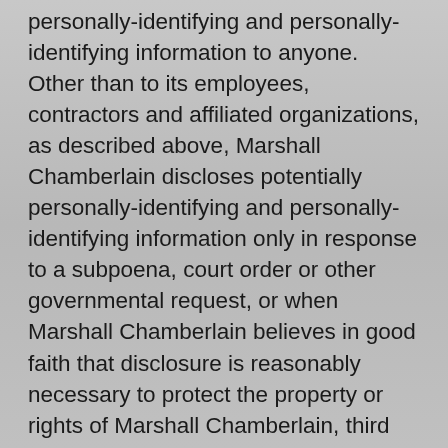personally-identifying and personally-identifying information to anyone. Other than to its employees, contractors and affiliated organizations, as described above, Marshall Chamberlain discloses potentially personally-identifying and personally-identifying information only in response to a subpoena, court order or other governmental request, or when Marshall Chamberlain believes in good faith that disclosure is reasonably necessary to protect the property or rights of Marshall Chamberlain, third parties or the public at large. If you are a registered user of an Marshall Chamberlain website and have supplied your email address, Marshall Chamberlain may occasionally send you an email to tell you about new features, solicit your feedback, or just keep you up to date with what's going on with Marshall